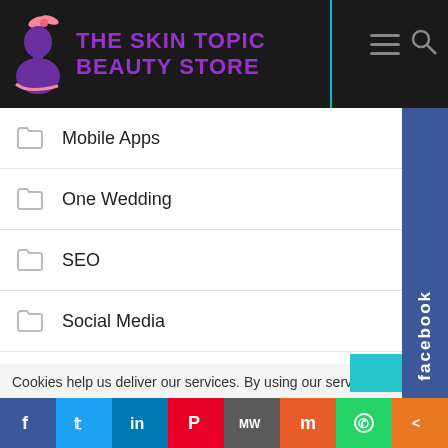[Figure (logo): The Skin Topic Beauty Store logo with purple silhouette of woman and pink bow on dark header]
Mobile Apps
One Wedding
SEO
Social Media
Web Development
Web Hosting
Wedding Event
Cookies help us deliver our services. By using our services, you
[Figure (screenshot): Social share bar with Facebook, Twitter, LinkedIn, Pinterest, MeWe, Mix, WhatsApp, and Share icons]